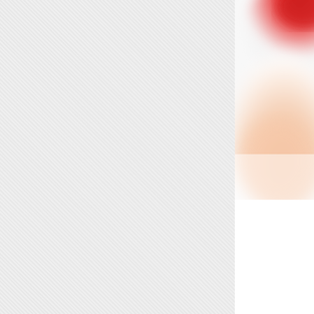[Figure (photo): Close-up blurred photo of red and skin-colored object (possibly food/pepper being held), visible on the right side of the page, cropped at the edge]
Tex-Mex-St... hoagie-size
Special Eq... measuring ... grill pan